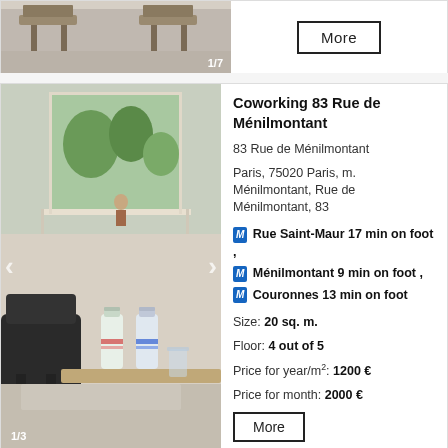[Figure (photo): Top listing card showing a room interior thumbnail with furniture, image counter 1/7]
More
[Figure (photo): Coworking space photo showing a room with chairs, a table, and two water bottles on the desk, with a view to an outdoor balcony and trees. Image counter 1/3.]
Coworking 83 Rue de Ménilmontant
83 Rue de Ménilmontant
Paris, 75020 Paris, m. Ménilmontant, Rue de Ménilmontant, 83
M Rue Saint-Maur 17 min on foot ,
M Ménilmontant 9 min on foot ,
M Couronnes 13 min on foot
Size: 20 sq. m.
Floor: 4 out of 5
Price for year/m²: 1200 €
Price for month: 2000 €
More